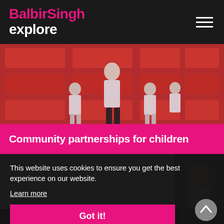BalbirSingh explore
[Figure (photo): Children in white t-shirts performing on a stage with red illuminated panels in the background, one adult standing in the center.]
Community partnerships for children
This website uses cookies to ensure you get the best experience on our website. Learn more
Got it!